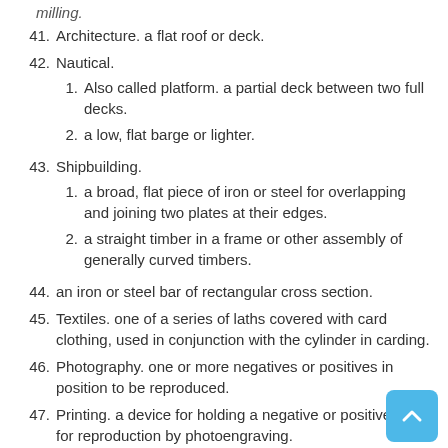milling.
41. Architecture. a flat roof or deck.
42. Nautical.
1. Also called platform. a partial deck between two full decks.
2. a low, flat barge or lighter.
43. Shipbuilding.
1. a broad, flat piece of iron or steel for overlapping and joining two plates at their edges.
2. a straight timber in a frame or other assembly of generally curved timbers.
44. an iron or steel bar of rectangular cross section.
45. Textiles. one of a series of laths covered with card clothing, used in conjunction with the cylinder in carding.
46. Photography. one or more negatives or positives in position to be reproduced.
47. Printing. a device for holding a negative or positive flat for reproduction by photoengraving.
48. Horticulture. a shallow, lidless box or tray used for rooting seeds